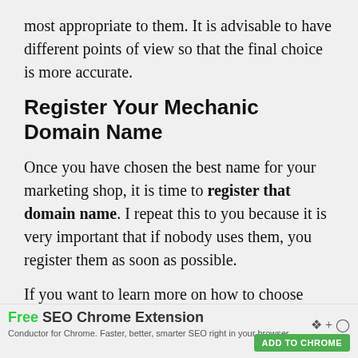most appropriate to them. It is advisable to have different points of view so that the final choice is more accurate.
Register Your Mechanic Domain Name
Once you have chosen the best name for your marketing shop, it is time to register that domain name. I repeat this to you because it is very important that if nobody uses them, you register them as soon as possible.
If you want to learn more on how to choose
[Figure (screenshot): Advertisement bar: Free SEO Chrome Extension. Conductor for Chrome. Faster, better, smarter SEO right in your browser. ADD TO CHROME button.]